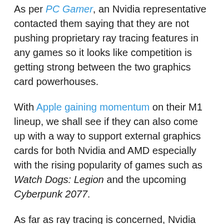As per PC Gamer, an Nvidia representative contacted them saying that they are not pushing proprietary ray tracing features in any games so it looks like competition is getting strong between the two graphics card powerhouses.
With Apple gaining momentum on their M1 lineup, we shall see if they can also come up with a way to support external graphics cards for both Nvidia and AMD especially with the rising popularity of games such as Watch Dogs: Legion and the upcoming Cyberpunk 2077.
As far as ray tracing is concerned, Nvidia still holds the crown but if you're a gamer on a budget, AMD's competitive prices are still the